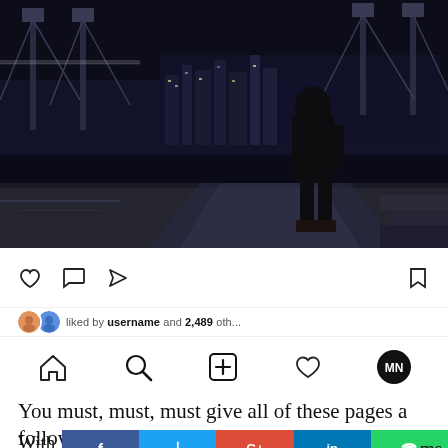[Figure (photo): Night cityscape photo showing a silhouetted person standing on a ledge/walkway, with a lit bridge (appears to be London's Tower Bridge) and city lights reflecting on water in the background. Dark, moody urban night scene.]
[Figure (screenshot): Instagram post interface showing action icons: heart (like), comment bubble, share/send arrow on the left, and bookmark on the right. Below is a partial likes/profile line.]
[Figure (screenshot): Instagram navigation bar at bottom with home, search, add post, heart/notifications, and profile icons.]
You must, must, must give all of these pages a follow today!
With [share buttons] o ms male [cut off]
[Figure (infographic): Social share buttons row: Facebook (67), Twitter (4), Google+ (0), LinkedIn (44), WhatsApp (1)]